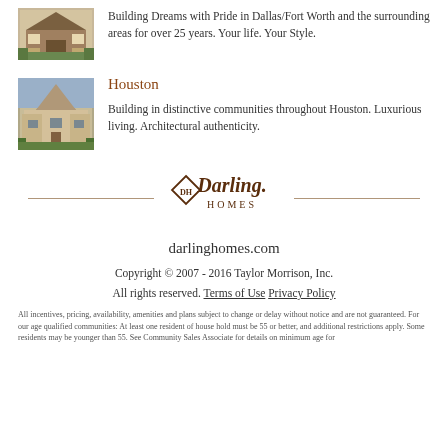Building Dreams with Pride in Dallas/Fort Worth and the surrounding areas for over 25 years. Your life. Your Style.
Houston
Building in distinctive communities throughout Houston. Luxurious living. Architectural authenticity.
[Figure (logo): Darling Homes logo — diamond shape with DH monogram, text 'Darling.' and 'HOMES' below, flanked by horizontal lines]
darlinghomes.com
Copyright © 2007 - 2016 Taylor Morrison, Inc.
All rights reserved. Terms of Use Privacy Policy
All incentives, pricing, availability, amenities and plans subject to change or delay without notice and are not guaranteed. For our age qualified communities: At least one resident of house hold must be 55 or better, and additional restrictions apply. Some residents may be younger than 55. See Community Sales Associate for details on minimum age for...